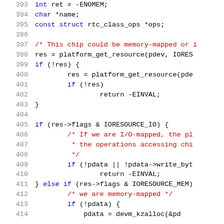[Figure (screenshot): Source code listing (C language) showing lines 393–414 of a Linux RTC driver, with syntax highlighting. Line numbers in gray on left, keywords in blue, comments in red, code in black.]